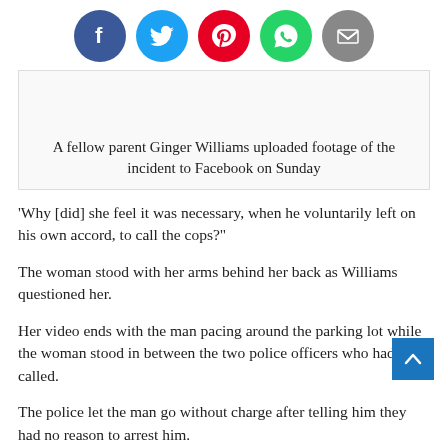[Figure (other): Social sharing icons row: Facebook (blue circle), Twitter (light blue circle), Pinterest (red circle), WhatsApp (green circle), Email (grey circle)]
[Figure (other): Image placeholder box (light grey bordered rectangle, mostly empty white space)]
A fellow parent Ginger Williams uploaded footage of the incident to Facebook on Sunday
‘Why [did] she feel it was necessary, when he voluntarily left on his own accord, to call the cops?”
The woman stood with her arms behind her back as Williams questioned her.
Her video ends with the man pacing around the parking lot while the woman stood in between the two police officers who had been called.
The police let the man go without charge after telling him they had no reason to arrest him.